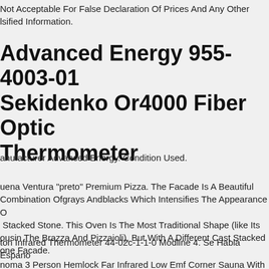Not Acceptable For False Declaration Of Prices And Any Other Falsified Information.
Advanced Energy 955-4003-01 Sekidenko Or4000 Fiber Optic Thermometer
Manufacturer Advanced Energy. Condition Used.
Buena Ventura "preto" Premium Pizza. The Facade Is A Beautiful Combination Ofgrays Andblacks Which Intensifies The Appearance Of Stacked Stone. This Oven Is The Most Traditional Shape (like Its Cousin The Brazza And Pizzaioli), But With A Different Cast Stacked Stone Facade.
Unicon Infrared Thermometer 44-02c-1-1-0 Modline 4. Se Habla Espanol.
Sonoma 3 Person Hemlock Far Infrared Low Emf Corner Sauna With